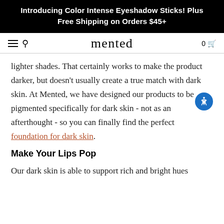Introducing Color Intense Eyeshadow Sticks! Plus Free Shipping on Orders $45+
mented
lighter shades. That certainly works to make the product darker, but doesn't usually create a true match with dark skin. At Mented, we have designed our products to be pigmented specifically for dark skin - not as an afterthought - so you can finally find the perfect foundation for dark skin.
Make Your Lips Pop
Our dark skin is able to support rich and bright hues